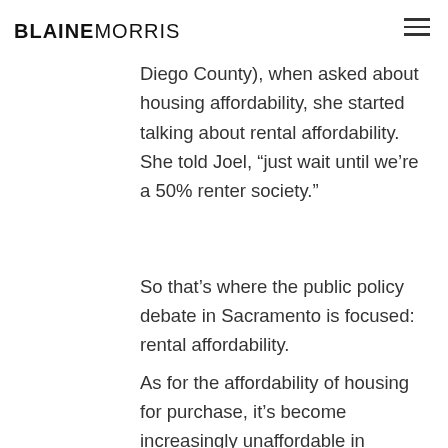BLAINE MORRIS
the Speaker of the California Assembly Toni Atkins (who hails from Coastal San Diego County), when asked about housing affordability, she started talking about rental affordability.  She told Joel, “just wait until we’re a 50% renter society.”
So that’s where the public policy debate in Sacramento is focused:  rental affordability.
As for the affordability of housing for purchase, it’s become increasingly unaffordable in California.  At the height of the recession, Joel Singer described it as a “once in a generation buying opportunity”.  Those days are long gone.  The ability to purchase a